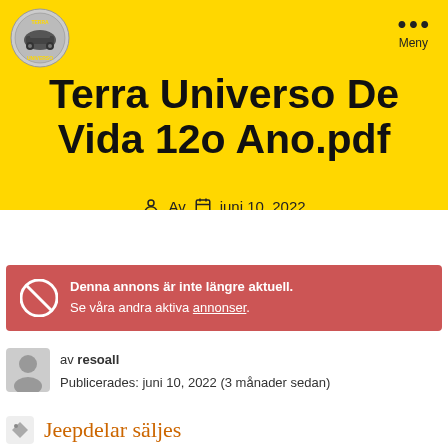[Figure (logo): Circular logo with yellow and grey tones, appears to be a club or organization emblem]
Terra Universo De Vida 12o Ano.pdf
Av   juni 10, 2022
Denna annons är inte längre aktuell. Se våra andra aktiva annonser.
av resoall
Publicerades: juni 10, 2022 (3 månader sedan)
Jeepdelar säljes